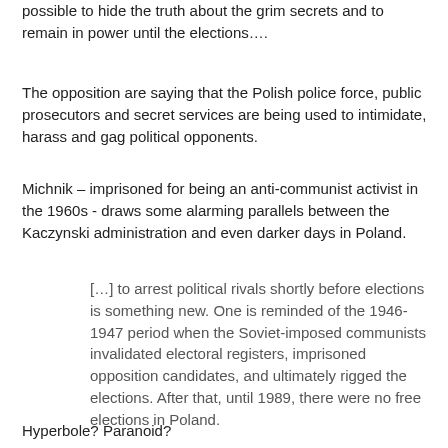possible to hide the truth about the grim secrets and to remain in power until the elections….
The opposition are saying that the Polish police force, public prosecutors and secret services are being used to intimidate, harass and gag political opponents.
Michnik – imprisoned for being an anti-communist activist in the 1960s - draws some alarming parallels between the Kaczynski administration and even darker days in Poland.
[…] to arrest political rivals shortly before elections is something new. One is reminded of the 1946-1947 period when the Soviet-imposed communists invalidated electoral registers, imprisoned opposition candidates, and ultimately rigged the elections. After that, until 1989, there were no free elections in Poland.
Hyperbole? Paranoid?